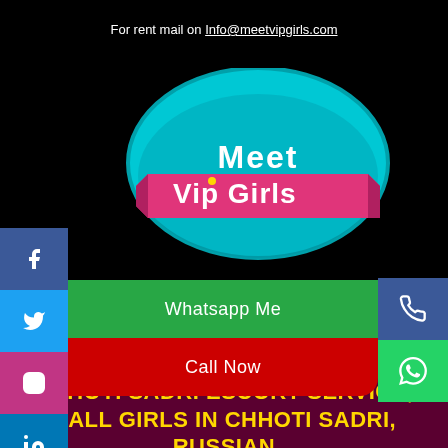For rent mail on Info@meetvipgirls.com
[Figure (logo): Meet VIP Girls logo — teal oval with 'Meet' text above a pink ribbon banner reading 'Vip Girls']
Whatsapp Me
Call Now
CHHOTI SADRI ESCORT SERVICE, CALL GIRLS IN CHHOTI SADRI, RUSSIAN